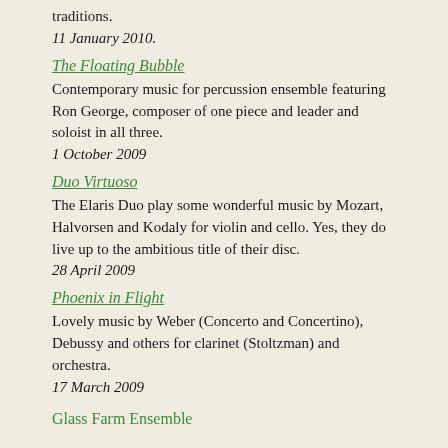traditions.
11 January 2010.
The Floating Bubble
Contemporary music for percussion ensemble featuring Ron George, composer of one piece and leader and soloist in all three.
1 October 2009
Duo Virtuoso
The Elaris Duo play some wonderful music by Mozart, Halvorsen and Kodaly for violin and cello. Yes, they do live up to the ambitious title of their disc.
28 April 2009
Phoenix in Flight
Lovely music by Weber (Concerto and Concertino), Debussy and others for clarinet (Stoltzman) and orchestra.
17 March 2009
Glass Farm Ensemble